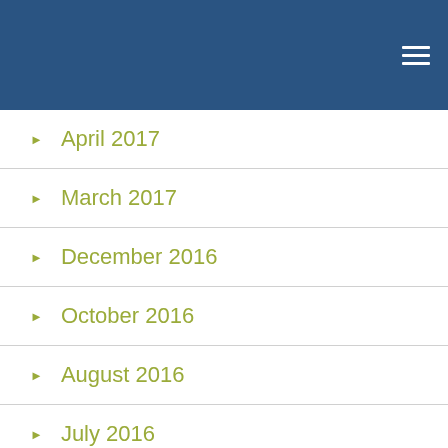April 2017
March 2017
December 2016
October 2016
August 2016
July 2016
June 2016
May 2016
April 2016